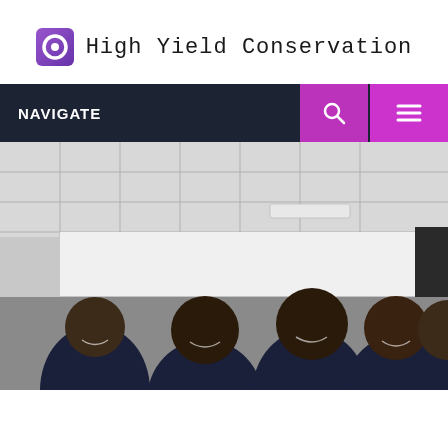High Yield Conservation
[Figure (screenshot): Navigation bar with NAVIGATE label, search icon (magenta), and hamburger menu icon (magenta)]
[Figure (photo): Group photo of several men smiling, wearing dark shirts, in an indoor setting with ceiling tiles and a white board visible in the background]